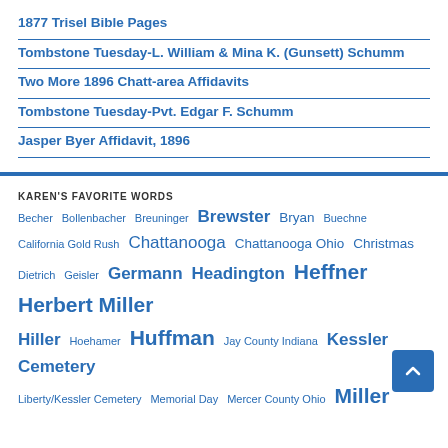1877 Trisel Bible Pages
Tombstone Tuesday-L. William & Mina K. (Gunsett) Schumm
Two More 1896 Chatt-area Affidavits
Tombstone Tuesday-Pvt. Edgar F. Schumm
Jasper Byer Affidavit, 1896
KAREN'S FAVORITE WORDS
Becher Bollenbacher Breuninger Brewster Bryan Buechner California Gold Rush Chattanooga Chattanooga Ohio Christmas Dietrich Geisler Germann Headington Heffner Herbert Miller Hiller Hoehamer Huffman Jay County Indiana Kessler Cemetery Liberty/Kessler Cemetery Memorial Day Mercer County Ohio Miller